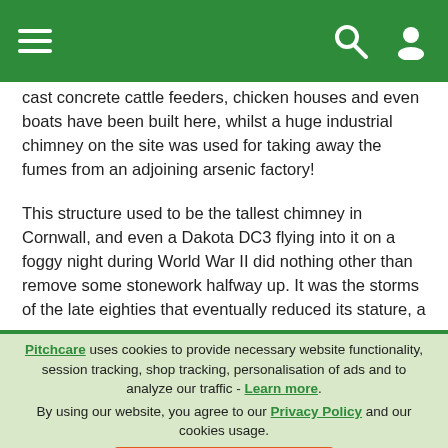[Navigation bar with hamburger menu, search icon, and user icon]
cast concrete cattle feeders, chicken houses and even boats have been built here, whilst a huge industrial chimney on the site was used for taking away the fumes from an adjoining arsenic factory!
This structure used to be the tallest chimney in Cornwall, and even a Dakota DC3 flying into it on a foggy night during World War II did nothing other than remove some stonework halfway up. It was the storms of the late eighties that eventually reduced its stature, a
Pitchcare uses cookies to provide necessary website functionality, session tracking, shop tracking, personalisation of ads and to analyze our traffic - Learn more. By using our website, you agree to our Privacy Policy and our cookies usage.